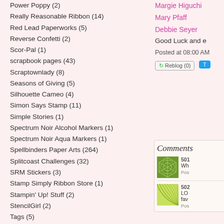Power Poppy (2)
Really Reasonable Ribbon (14)
Red Lead Paperworks (5)
Reverse Confetti (2)
Scor-Pal (1)
scrapbook pages (43)
Scraptownlady (8)
Seasons of Giving (5)
Silhouette Cameo (4)
Simon Says Stamp (11)
Simple Stories (1)
Spectrum Noir Alcohol Markers (1)
Spectrum Noir Aqua Markers (1)
Spellbinders Paper Arts (264)
Splitcoast Challenges (32)
SRM Stickers (3)
Stamp Simply Ribbon Store (1)
Stampin' Up! Stuff (2)
StencilGirl (2)
Tags (5)
Margie Higuchi
Mary Pfaff
Debbie Seyer
Good Luck and e
Posted at 08:00 AM
Reblog (0)
Comments
501
Wh
Pos
502
LO
fav
Pos